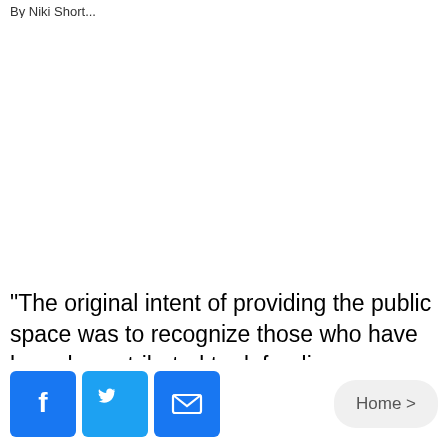By Niki Short...
“The original intent of providing the public space was to recognize those who have bravely contributed to defending our nation through their military service,” Belle Plaine city officials said in a
Home >